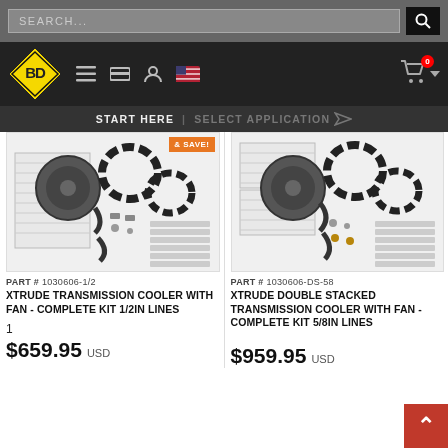SEARCH...
[Figure (logo): BD Diesel Performance logo - yellow diamond shape with BD text]
START HERE | SELECT APPLICATION
[Figure (photo): Product photo of Xtrude Transmission Cooler with Fan - Complete Kit 1/2in Lines, part 1030606-1/2, showing cooler unit, fan, hose clamps, fittings and hardware components]
PART # 1030606-1/2
XTRUDE TRANSMISSION COOLER WITH FAN - COMPLETE KIT 1/2IN LINES
1
$659.95 USD
[Figure (photo): Product photo of Xtrude Double Stacked Transmission Cooler with Fan - Complete Kit 5/8in Lines, part 1030606-DS-58, showing cooler unit, fan, hose clamps, fittings and hardware components]
PART # 1030606-DS-58
XTRUDE DOUBLE STACKED TRANSMISSION COOLER WITH FAN - COMPLETE KIT 5/8IN LINES
$959.95 USD